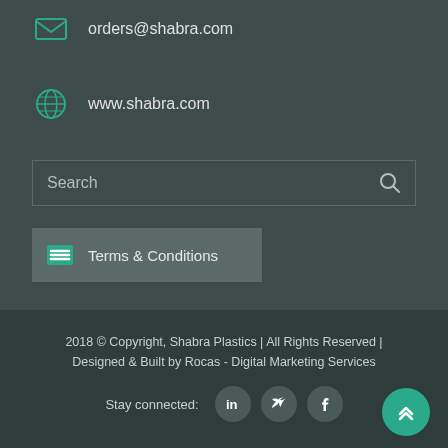orders@shabra.com
www.shabra.com
Search
Terms & Conditions
2018 © Copyright, Shabra Plastics | All Rights Reserved | Designed & Built by Rocas - Digital Marketing Services
Stay connected: